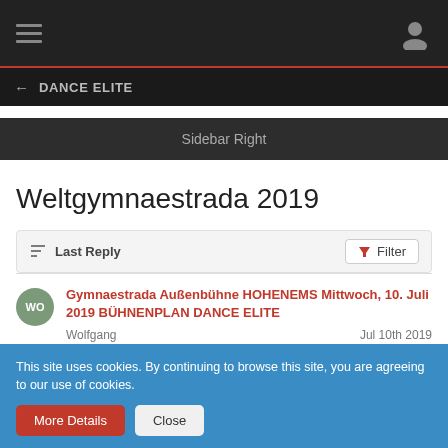DANCE ELITE
Sidebar Right
Weltgymnaestrada 2019
Last Reply   Filter
Gymnaestrada Außenbühne HOHENEMS Mittwoch, 10. Juli 2019 BÜHNENPLAN DANCE ELITE
Wolfgang   Jul 10th 2019
This site uses cookies. By continuing to browse this site, you are agreeing to our use of cookies.
More Details   Close